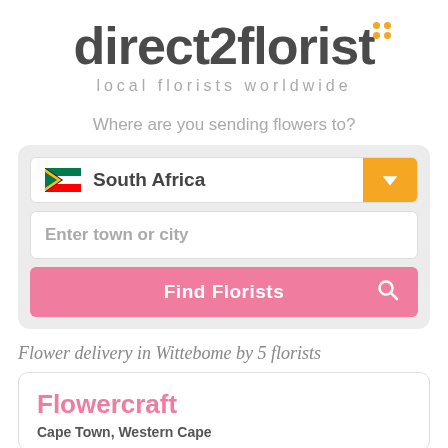[Figure (logo): direct2florist logo with orange dots accent and tagline 'local florists worldwide']
Where are you sending flowers to?
[Figure (screenshot): Search form with South Africa country selector (flag + dropdown), Enter town or city input, and pink Find Florists button with search icon]
Flower delivery in Wittebome by 5 florists
Flowercraft
Cape Town, Western Cape